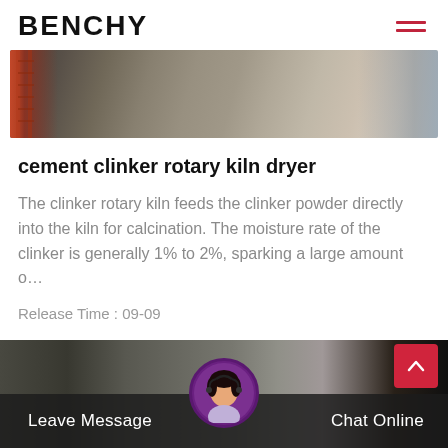BENCHY
[Figure (photo): Industrial construction site with ladder and concrete floor visible from above]
cement clinker rotary kiln dryer
The clinker rotary kiln feeds the clinker powder directly into the kiln for calcination. The moisture rate of the clinker is generally 1% to 2%, sparking a large amount o…
Release Time : 09-09
[Figure (photo): Industrial building exterior with customer service representative avatar overlay, Leave Message and Chat Online buttons at bottom]